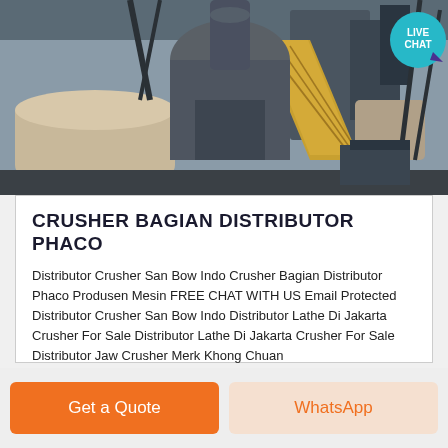[Figure (photo): Industrial crusher machinery in a factory/plant setting, showing large equipment with conveyor belts, dust collection systems, metal structures, and processing machinery. A 'LIVE CHAT' teal badge is visible in the upper right of the image.]
CRUSHER BAGIAN DISTRIBUTOR PHACO
Distributor Crusher San Bow Indo Crusher Bagian Distributor Phaco Produsen Mesin FREE CHAT WITH US Email Protected Distributor Crusher San Bow Indo Distributor Lathe Di Jakarta Crusher For Sale Distributor Lathe Di Jakarta Crusher For Sale Distributor Jaw Crusher Merk Khong Chuan
Get a Quote
WhatsApp